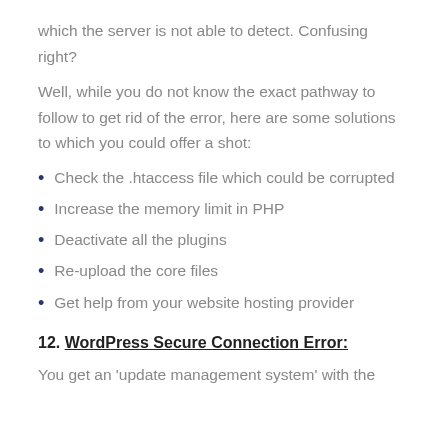which the server is not able to detect. Confusing right?
Well, while you do not know the exact pathway to follow to get rid of the error, here are some solutions to which you could offer a shot:
Check the .htaccess file which could be corrupted
Increase the memory limit in PHP
Deactivate all the plugins
Re-upload the core files
Get help from your website hosting provider
12. WordPress Secure Connection Error:
You get an 'update management system' with the